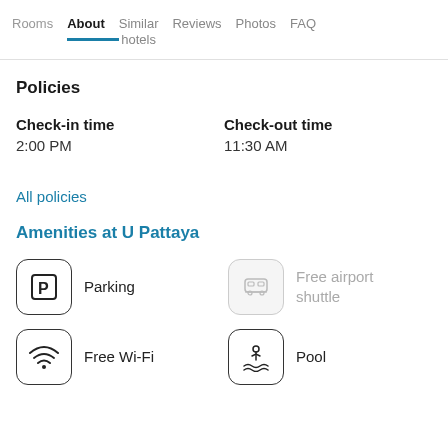Rooms | About | Similar hotels | Reviews | Photos | FAQ
Policies
Check-in time
2:00 PM
Check-out time
11:30 AM
All policies
Amenities at U Pattaya
Parking
Free airport shuttle
Free Wi-Fi
Pool